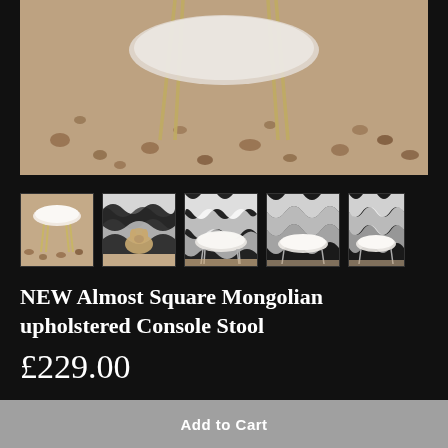[Figure (photo): Main product photo of a Mongolian fur upholstered console stool with hairpin legs, blurred close-up showing the fur texture and legs from above on a patterned floor]
[Figure (photo): Thumbnail 1: Side view of white fluffy stool with hairpin legs on patterned floor]
[Figure (photo): Thumbnail 2: Dog sitting near the stool with black and white patterned wallpaper background]
[Figure (photo): Thumbnail 3: Front view of stool against black and white patterned wallpaper]
[Figure (photo): Thumbnail 4: Another angle of stool against black and white patterned wallpaper]
[Figure (photo): Thumbnail 5: Partial view of stool against black and white patterned wallpaper]
NEW Almost Square Mongolian upholstered Console Stool
£229.00
If you fancy 4 legs, rather than 3, this NEW (almost
Add to Cart